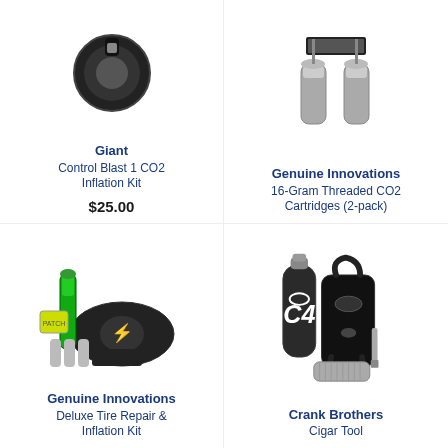[Figure (photo): Giant Control Blast 1 CO2 Inflation Kit product photo, black cylindrical device shown from above]
Giant
Control Blast 1 CO2 Inflation Kit
$25.00
[Figure (photo): Genuine Innovations 16-Gram Threaded CO2 Cartridges (2-pack) product photo, small silver cartridges]
Genuine Innovations
16-Gram Threaded CO2 Cartridges (2-pack)
[Figure (photo): Genuine Innovations Deluxe Tire Repair & Inflation Kit product photo, green and black kit with tire levers, CO2 cartridges, patches, and bag]
Genuine Innovations
Deluxe Tire Repair & Inflation Kit
[Figure (photo): Crank Brothers Cigar Tool product photo, black CO2 inflator tool with silver canister and multi-tool attachments]
Crank Brothers
Cigar Tool